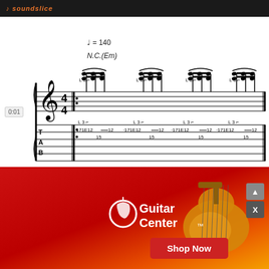soundslice
[Figure (illustration): Guitar tablature and sheet music notation in 4/4 time at tempo 140 BPM, key N.C.(Em), showing a repeating 16th-note triplet pattern with fret numbers: 171E12-12 at fret 15, repeated 4 times. Treble clef with time signature 4/4.]
0:01
[Figure (illustration): Continuation of guitar tab measure 2 showing fret 15 with quarter note (open string), treble clef, TAB staff.]
[Figure (advertisement): Guitar Center advertisement with guitar image and Shop Now button on red/orange gradient background.]